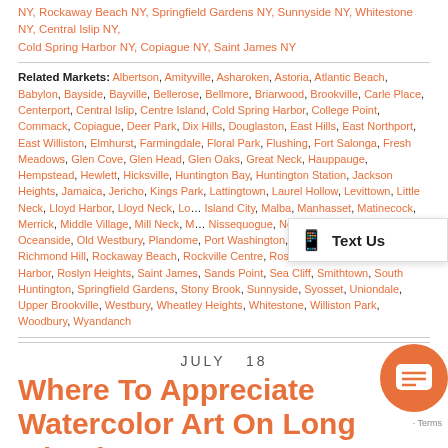NY, Rockaway Beach NY, Springfield Gardens NY, Sunnyside NY, Whitestone NY, Central Islip NY, Cold Spring Harbor NY, Copiague NY, Saint James NY
Related Markets: Albertson, Amityville, Asharoken, Astoria, Atlantic Beach, Babylon, Bayside, Bayville, Bellerose, Bellmore, Briarwood, Brookville, Carle Place, Centerport, Central Islip, Centre Island, Cold Spring Harbor, College Point, Commack, Copiague, Deer Park, Dix Hills, Douglaston, East Hills, East Northport, East Williston, Elmhurst, Farmingdale, Floral Park, Flushing, Fort Salonga, Fresh Meadows, Glen Cove, Glen Head, Glen Oaks, Great Neck, Hauppauge, Hempstead, Hewlett, Hicksville, Huntington Bay, Huntington Station, Jackson Heights, Jamaica, Jericho, Kings Park, Lattingtown, Laurel Hollow, Levittown, Little Neck, Lloyd Harbor, Lloyd Neck, Long Island City, Malba, Manhasset, Matinecock, Merrick, Middle Village, Mill Neck, Mineola, Nissequogue, North Hills, Northport, Oceanside, Old Westbury, Plandome, Port Washington, Queens Village, Rego Park, Richmond Hill, Rockaway Beach, Rockville Centre, Roslyn, Roslyn Estates, Roslyn Harbor, Roslyn Heights, Saint James, Sands Point, Sea Cliff, Smithtown, South Huntington, Springfield Gardens, Stony Brook, Sunnyside, Syosset, Uniondale, Upper Brookville, Westbury, Wheatley Heights, Whitestone, Williston Park, Woodbury, Wyandanch
JULY  18
Where To Appreciate Watercolor Art On Long Island
by Laffey Real Estate